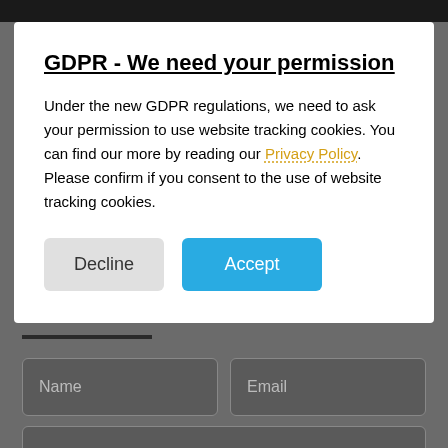GDPR - We need your permission
Under the new GDPR regulations, we need to ask your permission to use website tracking cookies. You can find our more by reading our Privacy Policy. Please confirm if you consent to the use of website tracking cookies.
Decline | Accept
[Figure (screenshot): Web form with fields: Name, Email, Phone, Message on a grey background]
Name
Email
Phone
Message